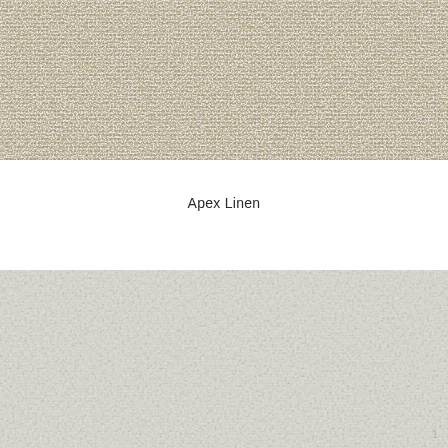[Figure (photo): Close-up photograph of woven fabric texture with a beige/taupe linen weave pattern showing interlaced threads with light and dark variations]
Apex Linen
[Figure (photo): Close-up photograph of a lighter, more uniform woven fabric texture showing fine linen weave in pale grey/white tones with a subtle page number '1' visible in bottom right corner]